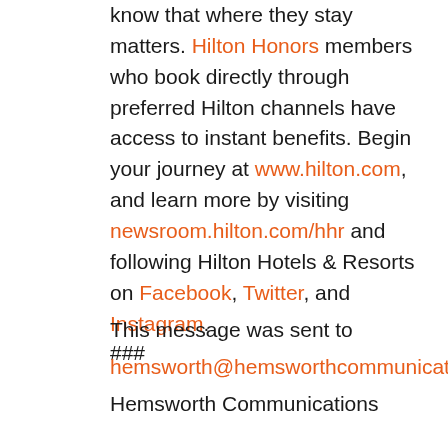know that where they stay matters. Hilton Honors members who book directly through preferred Hilton channels have access to instant benefits. Begin your journey at www.hilton.com, and learn more by visiting newsroom.hilton.com/hhr and following Hilton Hotels & Resorts on Facebook, Twitter, and Instagram.
###
This message was sent to hemsworth@hemsworthcommunications.com
Hemsworth Communications